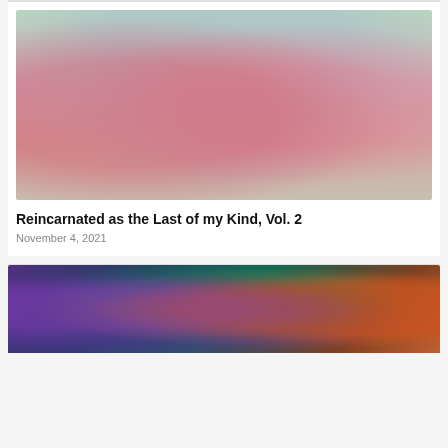[Figure (illustration): Anime illustration showing three characters: a blonde elf girl in a red outfit in the foreground, a pink-haired girl in orange vest and dark shorts on the right, and a taller male figure in blue in the background, set in a green outdoor scene.]
Reincarnated as the Last of my Kind, Vol. 2
November 4, 2021
[Figure (illustration): Anime illustration partially visible, showing a character with dark spiky hair and teal eyes, surrounded by purple and orange energy effects.]